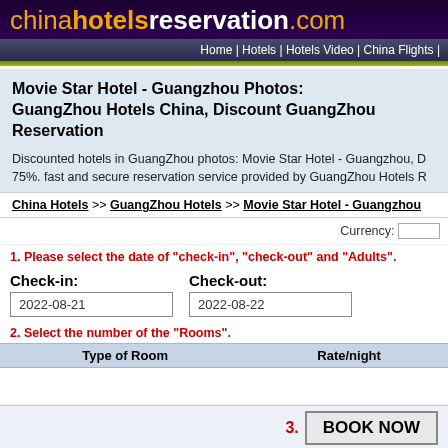chinahotelsreservation.com
Home | Hotels | Hotels Video | China Flights |
Movie Star Hotel - Guangzhou Photos: GuangZhou Hotels China, Discount GuangZhou Reservation
Discounted hotels in GuangZhou photos: Movie Star Hotel - Guangzhou, D 75%. fast and secure reservation service provided by GuangZhou Hotels R
China Hotels >> GuangZhou Hotels >> Movie Star Hotel - Guangzhou
Currency:
1. Please select the date of "check-in", "check-out" and "Adults".
Check-in: 2022-08-21
Check-out: 2022-08-22
2. Select the number of the "Rooms".
| Type of Room | Rate/night |
| --- | --- |
|   |   |
3. BOOK NOW
[Figure (photo): Hotel photo strip at bottom of page]